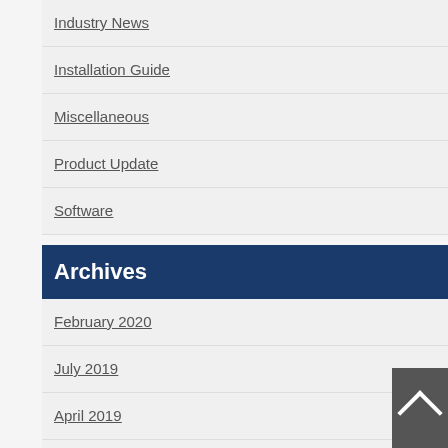Industry News
Installation Guide
Miscellaneous
Product Update
Software
Archives
February 2020
July 2019
April 2019
December 2018